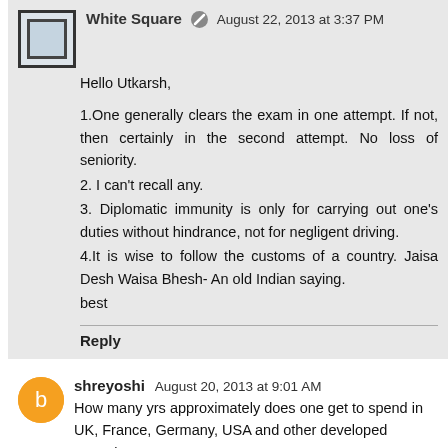White Square  August 22, 2013 at 3:37 PM
Hello Utkarsh,

1.One generally clears the exam in one attempt. If not, then certainly in the second attempt. No loss of seniority.
2. I can't recall any.
3. Diplomatic immunity is only for carrying out one's duties without hindrance, not for negligent driving.
4.It is wise to follow the customs of a country. Jaisa Desh Waisa Bhesh- An old Indian saying.
best
Reply
shreyoshi  August 20, 2013 at 9:01 AM
How many yrs approximately does one get to spend in UK, France, Germany, USA and other developed countries?